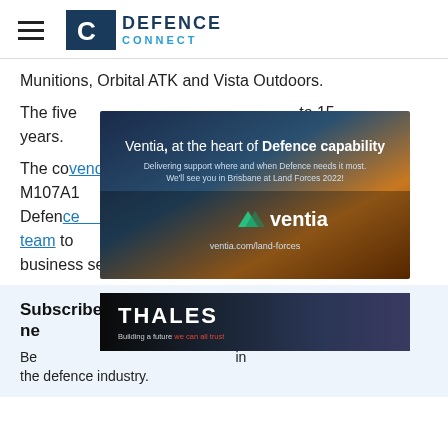DEFENCE CONNECT
Munitions, Orbital ATK and Vista Outdoors.
The five [...]  to 15 years.
[Figure (advertisement): Ventia advertisement: 'Ventia, at the heart of Defence capability. Delivering support where and when Defence needs it most. We'll see you in Brisbane at Land Forces 2022! ventia.com/land-forces']
The co[ntract/mpany includes vendor...] M107A1[...] and Defence[...integrated team] to [...] ent business sector.
Subscribe to the Defence Connect daily
ne[wsletter]
[Figure (advertisement): Thales advertisement: 'THALES — Building a future we can all trust']
Be[...]  in the defence industry.